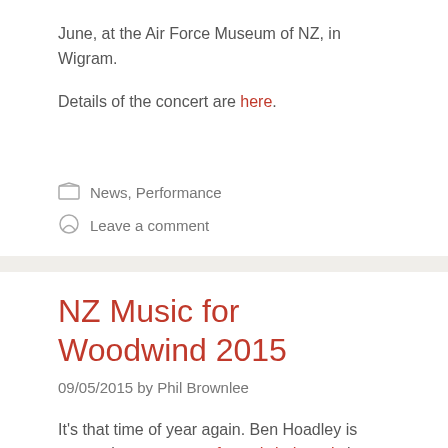June, at the Air Force Museum of NZ, in Wigram.
Details of the concert are here.
News, Performance
Leave a comment
NZ Music for Woodwind 2015
09/05/2015 by Phil Brownlee
It's that time of year again. Ben Hoadley is presenting a concert of woodwind music by New Zealand composers